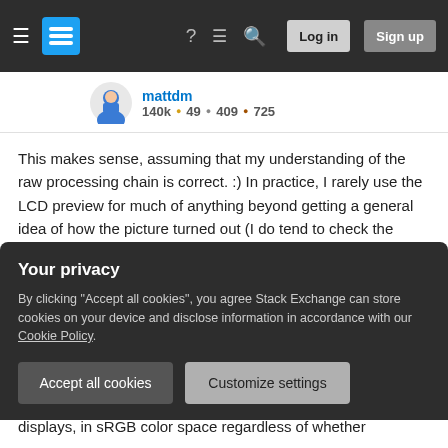Navigation bar with hamburger menu, Stack Exchange logo, help, chat, search icons, Log in and Sign up buttons
mattdm 140k • 49 • 409 • 725
This makes sense, assuming that my understanding of the raw processing chain is correct. :) In practice, I rarely use the LCD preview for much of anything beyond getting a general idea of how the picture turned out (I do tend to check the histogram, though) and instead spend some time working with color temperature, curves etc in post, so color rendition accuracy in camera preview is not particularly important to me. That said, I will try to take the same scene with the same light and exposure, with the
Your privacy
By clicking "Accept all cookies", you agree Stack Exchange can store cookies on your device and disclose information in accordance with our Cookie Policy.
Accept all cookies
Customize settings
displays, in sRGB color space regardless of whether